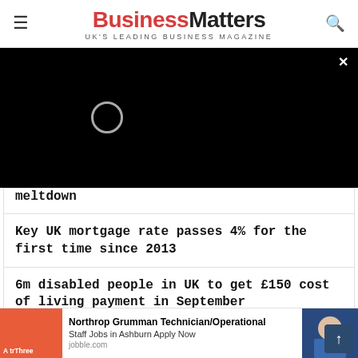BusinessMatters — UK'S LEADING BUSINESS MAGAZINE
[Figure (screenshot): Black video player overlay with loading spinner circle and close (×) button in top-right corner]
meltdown
Key UK mortgage rate passes 4% for the first time since 2013
6m disabled people in UK to get £150 cost of living payment in September
[Figure (infographic): Advertisement bar at bottom: orange image on left with 'A tr... Three' text, Northrop Grumman job ad in centre, photo of person on right with scroll-up button]